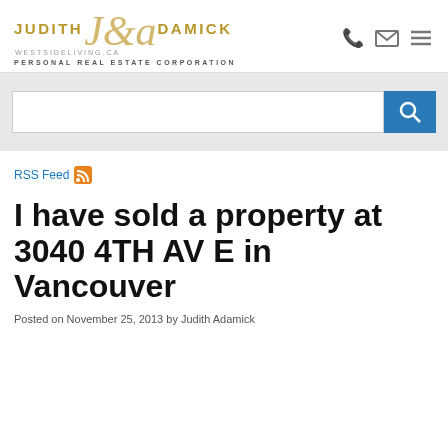JUDITH ADAMICK WESTSIDELIVING.CA PERSONAL REAL ESTATE CORPORATION
[Figure (logo): Judith Adamick Personal Real Estate Corporation logo with stylized monogram and subtitle westsideliving.ca]
RSS Feed
I have sold a property at 3040 4TH AV E in Vancouver
Posted on November 25, 2013 by Judith Adamick